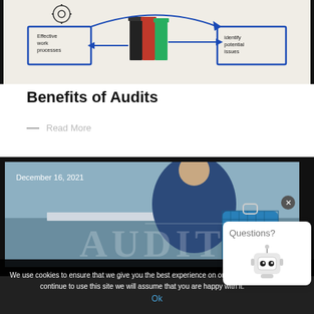[Figure (illustration): Diagram showing workflow with boxes labeled 'Effective work processes' and 'identify potential issues' connected by arrows, with binders/folders in the center. Hand-drawn style on cream background.]
Benefits of Audits
— Read More
[Figure (photo): Photo of a person in a blue suit sitting with luggage. Overlaid with large semi-transparent text reading 'AUDIT'. Date 'December 16, 2021' shown top-left. Dark border/frame around the photo.]
We use cookies to ensure that we give you the best experience on our website. If you continue to use this site we will assume that you are happy with it.
Ok
Questions?